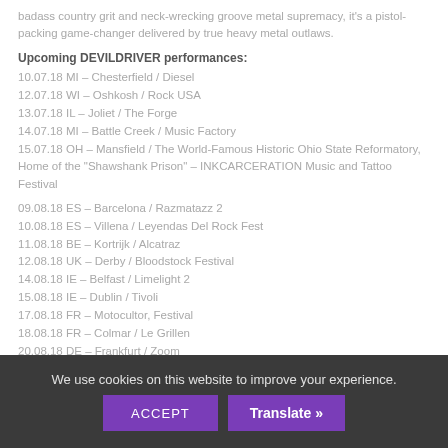badass country grit and neck-wrecking groove metal supremacy, it’s a pistol-packing game-changer delivered by true heavy metal outlaws.
Upcoming DEVILDRIVER performances:
10.07.18 MI – Chesterfield / Diesel
12.07.18 WI – Oshkosh / Rock USA
13.07.18 IL – Joliet / The Forge
14.07.18 MI – Battle Creek / Music Factory
15.07.18 OH – Mansfield / The World-Famous Historic Ohio State Reformatory, Home of the “Shawshank Prison” – INKCARCERATION Music and Tattoo Festival
09.08.18 ES – Barcelona / Razmatazz 2
10.08.18 ES – Villena / Leyendas Del Rock Fest
11.08.18 BE – Kortrijk / Alcatraz
12.08.18 UK – Derby / Bloodstock Festival
14.08.18 IE – Belfast / Limelight 2
15.08.18 IE – Dublin / Tivoli
17.08.18 FR – Motocultor, Festival
18.08.18 FR – Colmar / Le Grillen
20.08.18 DE – Frankfurt / Zoom
21.08.18 DE – Munich / Backstage Halle
22.08.18 DE – Nuremberg / Hirsch
23.08.18 DE – Cologne / Gebaude 9
We use cookies on this website to improve your experience.